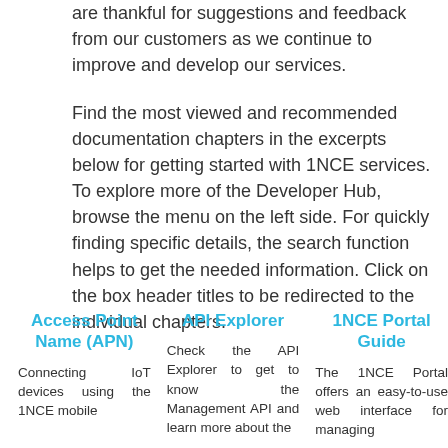are thankful for suggestions and feedback from our customers as we continue to improve and develop our services.
Find the most viewed and recommended documentation chapters in the excerpts below for getting started with 1NCE services. To explore more of the Developer Hub, browse the menu on the left side. For quickly finding specific details, the search function helps to get the needed information. Click on the box header titles to be redirected to the individual chapters.
Access Point Name (APN)
Connecting IoT devices using the 1NCE mobile
API Explorer
Check the API Explorer to get to know the Management API and learn more about the
1NCE Portal Guide
The 1NCE Portal offers an easy-to-use web interface for managing